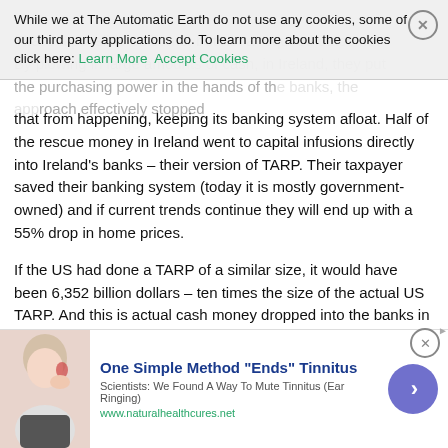While we at The Automatic Earth do not use any cookies, some of our third party applications do. To learn more about the cookies click here: Learn More  Accept Cookies
that from happening, keeping its banking system afloat. Half of the rescue money in Ireland went to capital infusions directly into Ireland’s banks – their version of TARP. Their taxpayer saved their banking system (today it is mostly government-owned) and if current trends continue they will end up with a 55% drop in home prices.
If the US had done a TARP of a similar size, it would have been 6,352 billion dollars – ten times the size of the actual US TARP. And this is actual cash money dropped into the banks in Ireland. And there were no GM bailouts, no GE bailouts. Just the six banks. It was a very expensive operation.
Sweden executed a similar type of rescue (bad bank, capital infusions) in 1991, and they managed to avoid that outcome.
Perhaps most interestingly, during the 1929-1933 Depression, US home prices (when adjusted for in/deflation) actually were more or less flat. The only explanation for that is, the 20s weren’t caused by
[Figure (infographic): Advertisement for tinnitus remedy: One Simple Method "Ends" Tinnitus. Scientists: We Found A Way To Mute Tinnitus (Ear Ringing). www.naturalhealthcures.net. Shows woman holding ear, with blue circle arrow button.]